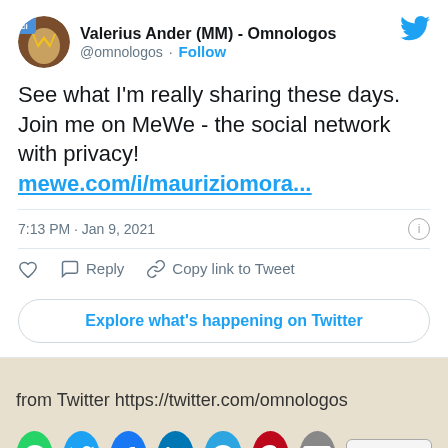[Figure (screenshot): Twitter/social media screenshot showing a tweet by Valerius Ander (MM) - Omnologos (@omnologos) with a Follow button and Twitter bird logo, avatar with yellow and brown design with 'citizen' badge]
Valerius Ander (MM) - Omnologos
@omnologos · Follow
See what I'm really sharing these days. Join me on MeWe - the social network with privacy! mewe.com/i/mauriziomora...
7:13 PM · Jan 9, 2021
Reply   Copy link to Tweet
Explore what's happening on Twitter
from Twitter https://twitter.com/omnologos
[Figure (infographic): Row of social share buttons: WhatsApp (green), Twitter (light blue), Facebook (blue), LinkedIn (dark blue), Telegram (blue), Pinterest (red), email (grey), and a More button]